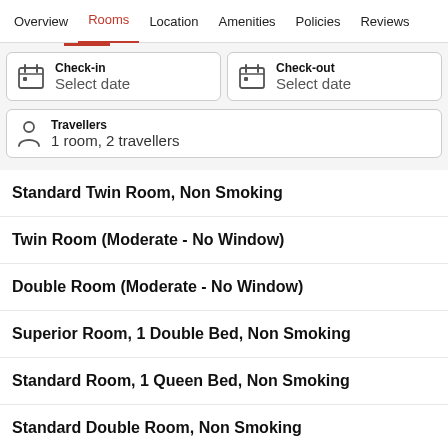Overview | Rooms | Location | Amenities | Policies | Reviews
Check-in — Select date
Check-out — Select date
Travellers — 1 room, 2 travellers
Standard Twin Room, Non Smoking
Twin Room (Moderate - No Window)
Double Room (Moderate - No Window)
Superior Room, 1 Double Bed, Non Smoking
Standard Room, 1 Queen Bed, Non Smoking
Standard Double Room, Non Smoking